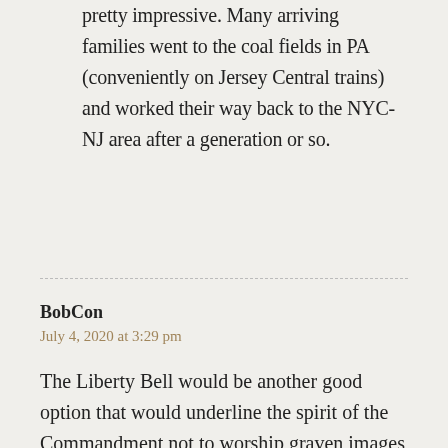pretty impressive. Many arriving families went to the coal fields in PA (conveniently on Jersey Central trains) and worked their way back to the NYC-NJ area after a generation or so.
BobCon
July 4, 2020 at 3:29 pm
The Liberty Bell would be another good option that would underline the spirit of the Commandment not to worship graven images (in spite of what the advance party into would